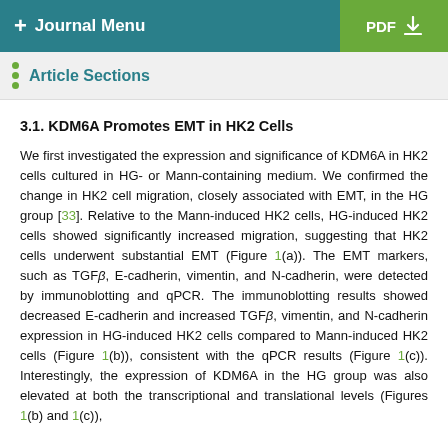+ Journal Menu | PDF
Article Sections
3.1. KDM6A Promotes EMT in HK2 Cells
We first investigated the expression and significance of KDM6A in HK2 cells cultured in HG- or Mann-containing medium. We confirmed the change in HK2 cell migration, closely associated with EMT, in the HG group [33]. Relative to the Mann-induced HK2 cells, HG-induced HK2 cells showed significantly increased migration, suggesting that HK2 cells underwent substantial EMT (Figure 1(a)). The EMT markers, such as TGFβ, E-cadherin, vimentin, and N-cadherin, were detected by immunoblotting and qPCR. The immunoblotting results showed decreased E-cadherin and increased TGFβ, vimentin, and N-cadherin expression in HG-induced HK2 cells compared to Mann-induced HK2 cells (Figure 1(b)), consistent with the qPCR results (Figure 1(c)). Interestingly, the expression of KDM6A in the HG group was also elevated at both the transcriptional and translational levels (Figures 1(b) and 1(c)),